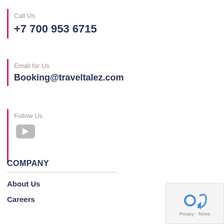Call Us
+7 700 953 6715
Email for Us
Booking@traveltalez.com
Follow Us
[Figure (other): YouTube play button icon (gray rounded rectangle with white triangle)]
COMPANY
About Us
Careers
[Figure (logo): Google reCAPTCHA badge with robot icon and Privacy · Terms text]